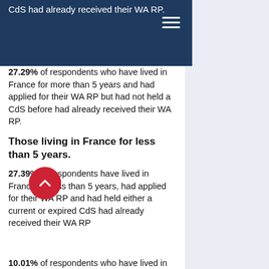CdS had already received their WA RP.
27.29% of respondents who have lived in France for more than 5 years and had applied for their WA RP but had not held a CdS before had already received their WA RP.
Those living in France for less than 5 years.
27.39% of respondents have lived in France for less than 5 years, had applied for their WA RP and had held either a current or expired CdS had already received their WA RP
10.01% of respondents who have lived in France for less than 5 years and had applied for their WA RP but had not held a CdS before had already received their WA RP.